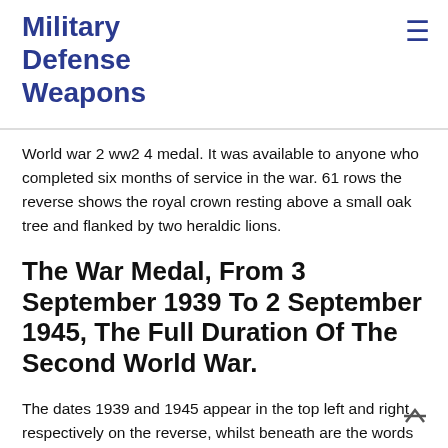Military Defense Weapons
World war 2 ww2 4 medal. It was available to anyone who completed six months of service in the war. 61 rows the reverse shows the royal crown resting above a small oak tree and flanked by two heraldic lions.
The War Medal, From 3 September 1939 To 2 September 1945, The Full Duration Of The Second World War.
The dates 1939 and 1945 appear in the top left and right respectively on the reverse, whilst beneath are the words the defence medal. This type of service in the uk included those service personnel working in headquarters, on training bases and airfields and members of the home guard. The broad criteria was